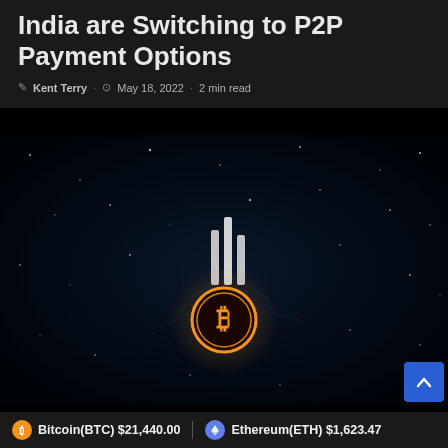Crypto Exchanges in India are Switching to P2P Payment Options
Kent Terry · May 18, 2022 · 2 min read
[Figure (photo): Dark blue/black background with scattered light dots resembling a star field or digital network. A glowing Bitcoin (BTC) logo in orange and gold is centered in the lower half. Three vertical white bars appear in the upper center area, resembling a loading or signal indicator.]
Bitcoin(BTC) $21,440.00  Ethereum(ETH) $1,623.47